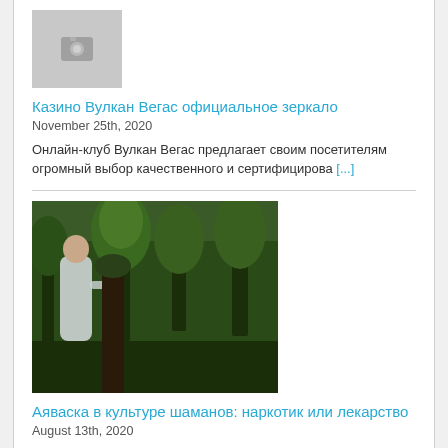[Figure (photo): Placeholder camera icon image (grey background)]
Казино Вулкан Вегас официальное зеркало
November 25th, 2020
Онлайн-клуб Вулкан Вегас предлагает своим посетителям огромный выбор качественного и сертифицирова [...]
[Figure (photo): Photo of a person standing among trees in a forest, dressed in light clothing]
Аяваска в культуре шаманов: наркотик или лекарство
August 13th, 2020
Аяваска — это таинственное и мистическое растение. Для одних людей аяваска является спасением от все [...]